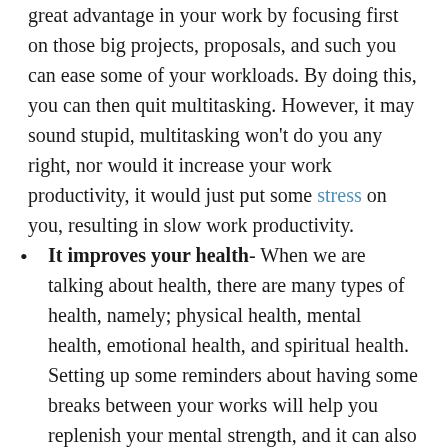great advantage in your work by focusing first on those big projects, proposals, and such you can ease some of your workloads. By doing this, you can then quit multitasking. However, it may sound stupid, multitasking won't do you any right, nor would it increase your work productivity, it would just put some stress on you, resulting in slow work productivity.
It improves your health- When we are talking about health, there are many types of health, namely; physical health, mental health, emotional health, and spiritual health. Setting up some reminders about having some breaks between your works will help you replenish your mental strength, and it can also help your physical health. You can meditate, do some yoga, exercise, and cool off from your tiring work in this free time. If